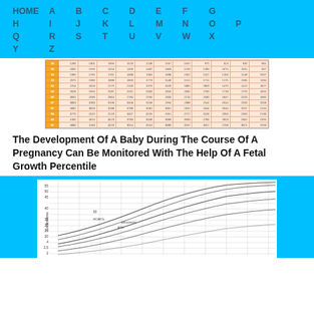HOME  A  B  C  D  E  F  G  H  I  J  K  L  M  N  O  P  Q  R  S  T  U  V  W  X  Y  Z
[Figure (table-as-image): Partial view of a fetal growth percentile data table with orange row headers and peach-colored data cells containing numeric values]
The Development Of A Baby During The Course Of A Pregnancy Can Be Monitored With The Help Of A Fetal Growth Percentile
[Figure (continuous-plot): Fetal growth percentile chart showing multiple curved lines (percentile bands) plotted on a grid, with y-axis labeled 'Centimetre' ranging from approximately 2 to 55, showing growth curves across gestational weeks]